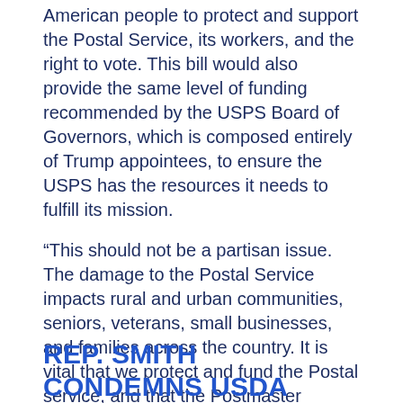American people to protect and support the Postal Service, its workers, and the right to vote. This bill would also provide the same level of funding recommended by the USPS Board of Governors, which is composed entirely of Trump appointees, to ensure the USPS has the resources it needs to fulfill its mission.
“This should not be a partisan issue. The damage to the Postal Service impacts rural and urban communities, seniors, veterans, small businesses, and families across the country. It is vital that we protect and fund the Postal service, and that the Postmaster General undo the damage he has already done.”
###
REP. SMITH CONDEMNS USDA